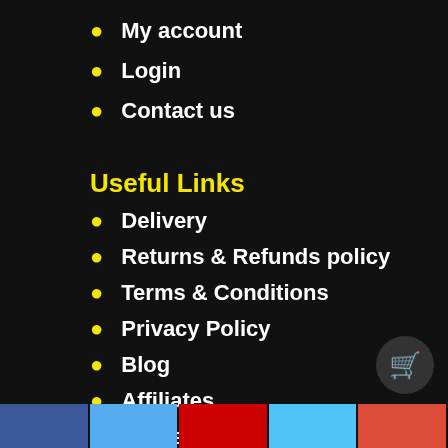My account
Login
Contact us
Useful Links
Delivery
Returns & Refunds policy
Terms & Conditions
Privacy Policy
Blog
Affiliates
Guides